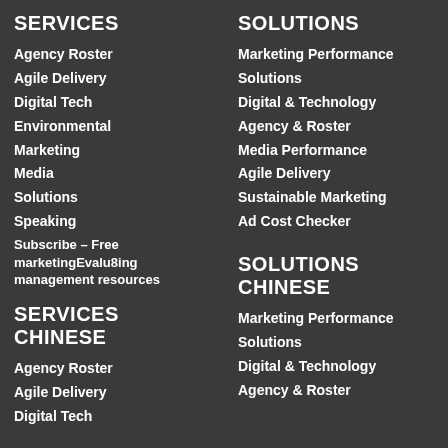SERVICES
Agency Roster
Agile Delivery
Digital Tech
Environmental
Marketing
Media
Solutions
Speaking
Subscribe – Free marketing Evalu8ing management resources
SERVICES CHINESE
Agency Roster
Agile Delivery
Digital Tech
SOLUTIONS
Marketing Performance
Solutions
Digital & Technology
Agency & Roster
Media Performance
Agile Delivery
Sustainable Marketing
Ad Cost Checker
SOLUTIONS CHINESE
Marketing Performance
Solutions
Digital & Technology
Agency & Roster